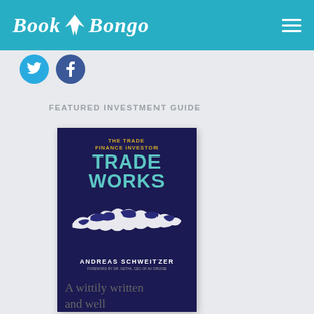Book Bongo
[Figure (logo): Book Bongo logo with bird icon in teal header bar]
[Figure (illustration): Social media icons: Twitter (blue circle with bird) and Facebook (dark blue circle with f)]
FEATURED INVESTMENT GUIDE
[Figure (photo): Book cover: The Trade Finance Investor - TRADE WORKS by Andreas Schweitzer. Dark navy background with world map in white. Foreword by Dr. Getha, CEO of AV CRUISE.]
A wittily written and well researched